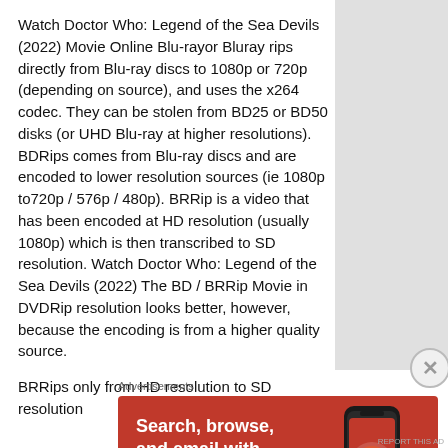Watch Doctor Who: Legend of the Sea Devils (2022) Movie Online Blu-rayor Bluray rips directly from Blu-ray discs to 1080p or 720p (depending on source), and uses the x264 codec. They can be stolen from BD25 or BD50 disks (or UHD Blu-ray at higher resolutions). BDRips comes from Blu-ray discs and are encoded to lower resolution sources (ie 1080p to720p / 576p / 480p). BRRip is a video that has been encoded at HD resolution (usually 1080p) which is then transcribed to SD resolution. Watch Doctor Who: Legend of the Sea Devils (2022) The BD / BRRip Movie in DVDRip resolution looks better, however, because the encoding is from a higher quality source.
BRRips only from HD resolution to SD resolution
Advertisements
[Figure (illustration): DuckDuckGo advertisement banner with orange background showing 'Search, browse, and email with more privacy. All in One Free App' with a phone image and DuckDuckGo logo]